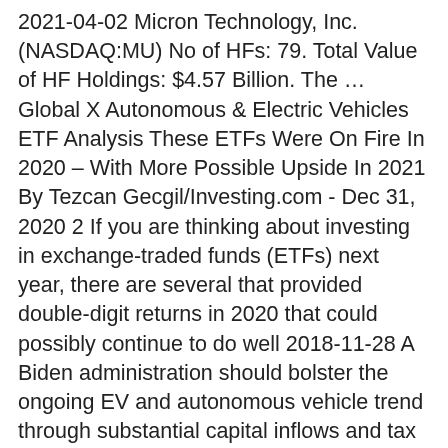2021-04-02 Micron Technology, Inc. (NASDAQ:MU) No of HFs: 79. Total Value of HF Holdings: $4.57 Billion. The … Global X Autonomous & Electric Vehicles ETF Analysis These ETFs Were On Fire In 2020 – With More Possible Upside In 2021 By Tezcan Gecgil/Investing.com - Dec 31, 2020 2 If you are thinking about investing in exchange-traded funds (ETFs) next year, there are several that provided double-digit returns in 2020 that could possibly continue to do well 2018-11-28 A Biden administration should bolster the ongoing EV and autonomous vehicle trend through substantial capital inflows and tax subsidies.
Masterutbildning lund
Get in-depth news, analysis, and opinion on the artificial intelligence used to drive this mode of